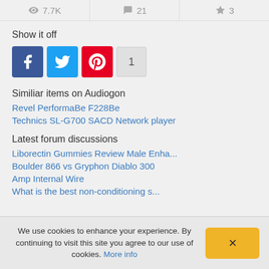👁 7.7K   💬 21   ★ 3
Show it off
[Figure (infographic): Social share buttons: Facebook (blue), Twitter (light blue), Pinterest (red), and a share count button showing 1]
Similiar items on Audiogon
Revel PerformaBe F228Be
Technics SL-G700 SACD Network player
Latest forum discussions
Liborectin Gummies Review Male Enha...
Boulder 866 vs Gryphon Diablo 300
Amp Internal Wire
What is the best non-conditioning s...
We use cookies to enhance your experience. By continuing to visit this site you agree to our use of cookies. More info